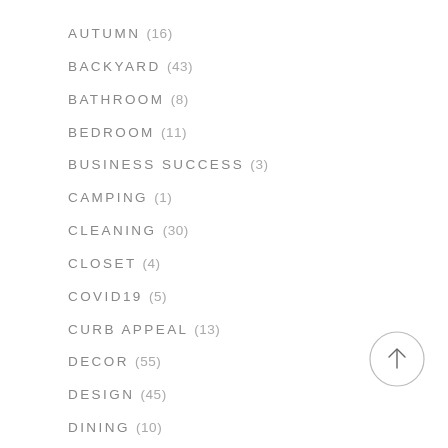AUTUMN (16)
BACKYARD (43)
BATHROOM (8)
BEDROOM (11)
BUSINESS SUCCESS (3)
CAMPING (1)
CLEANING (30)
CLOSET (4)
COVID19 (5)
CURB APPEAL (13)
DECOR (55)
DESIGN (45)
DINING (10)
DISTANCE LEARNING (1)
[Figure (other): Circular scroll-to-top button with upward arrow]